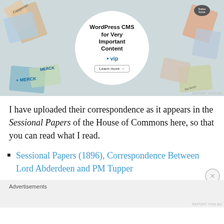[Figure (screenshot): Advertisement banner for WordPress VIP CMS service, showing brand logos (Merck, Capgemini, Hachette) arranged around a central white circle. The circle contains text 'WordPress CMS for Very Important Content', the WordPress VIP logo, and a 'Learn more →' button.]
I have uploaded their correspondence as it appears in the Sessional Papers of the House of Commons here, so that you can read what I read.
Sessional Papers (1896), Correspondence Between Lord Abderdeen and PM Tupper
Advertisements